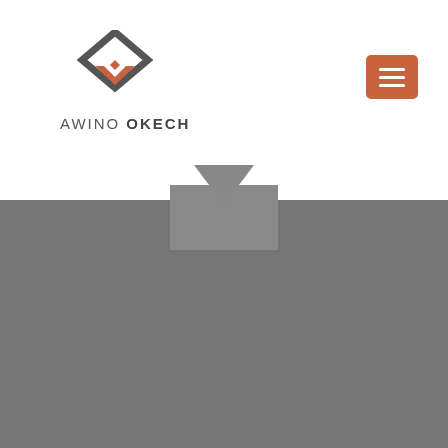[Figure (logo): Awino Okech logo with geometric diamond/arrow shape in gray and orange, with text AWINO OKECH below]
[Figure (other): Orange hamburger menu button (three horizontal white lines) in top right corner]
[Figure (other): Gray downward-pointing triangle arrow between white and gray sections]
Publications
Authored Books
[Figure (logo): Green rectangle with ROUTLEDGE FOCUS text in darker green letters]